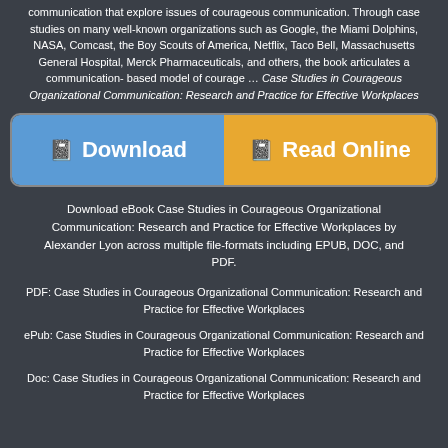communication that explore issues of courageous communication. Through case studies on many well-known organizations such as Google, the Miami Dolphins, NASA, Comcast, the Boy Scouts of America, Netflix, Taco Bell, Massachusetts General Hospital, Merck Pharmaceuticals, and others, the book articulates a communication-based model of courage … Case Studies in Courageous Organizational Communication: Research and Practice for Effective Workplaces
[Figure (infographic): Two buttons side by side: a blue Download button and an orange Read Online button, each with a book icon.]
Download eBook Case Studies in Courageous Organizational Communication: Research and Practice for Effective Workplaces by Alexander Lyon across multiple file-formats including EPUB, DOC, and PDF.
PDF: Case Studies in Courageous Organizational Communication: Research and Practice for Effective Workplaces
ePub: Case Studies in Courageous Organizational Communication: Research and Practice for Effective Workplaces
Doc: Case Studies in Courageous Organizational Communication: Research and Practice for Effective Workplaces